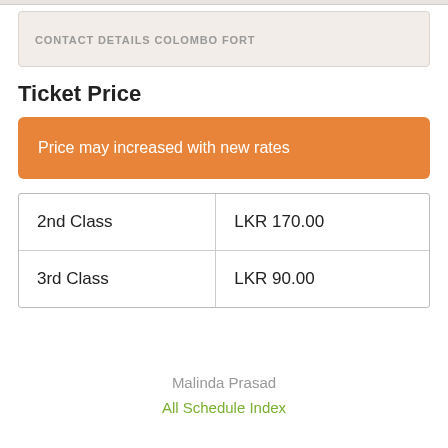CONTACT DETAILS COLOMBO FORT
Ticket Price
Price may increased with new rates
| Class | Price |
| --- | --- |
| 2nd Class | LKR 170.00 |
| 3rd Class | LKR 90.00 |
Malinda Prasad
All Schedule Index